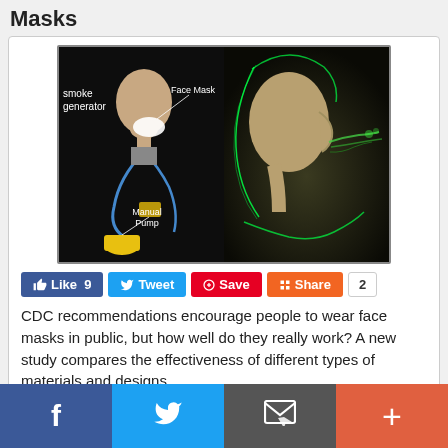Masks
[Figure (photo): Two-panel image: left panel shows a mannequin head wearing a white face mask with labels 'Face Mask' and 'Manual Pump', and text 'smoke generator' on the left side, showing an experimental setup with blue tubes and a yellow manual pump. Right panel shows a 3D rendered human head profile on dark background with green glowing airflow lines escaping around the face mask area.]
Like 9  Tweet  Save  Share  2
CDC recommendations encourage people to wear face masks in public, but how well do they really work? A new study compares the effectiveness of different types of materials and designs.
Read Post
How Study Compares Different Types of F...